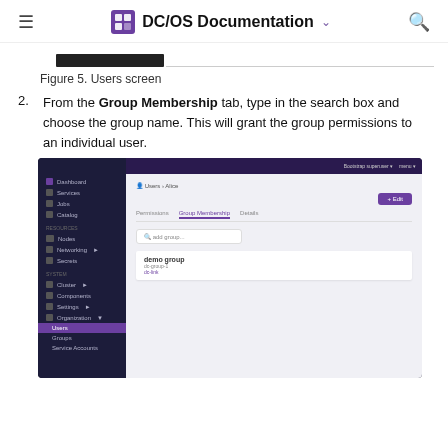DC/OS Documentation
Figure 5. Users screen
2. From the Group Membership tab, type in the search box and choose the group name. This will grant the group permissions to an individual user.
[Figure (screenshot): DC/OS web UI screenshot showing the Users > Alice page with the Group Membership tab active, a search box with 'demo group' entered, showing a group result below.]